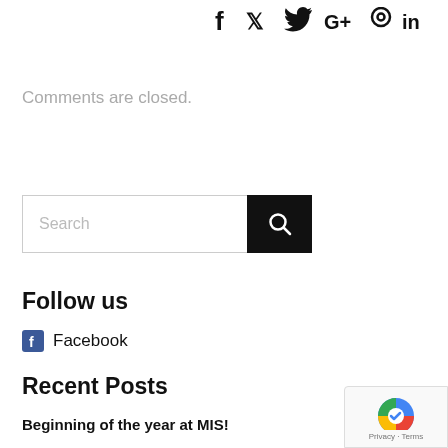[Figure (infographic): Social media icons: Facebook (f), Twitter (bird/t), Google+ (G+), Pinterest (P), LinkedIn (in)]
Comments are closed.
[Figure (other): Search bar with text input placeholder 'Search' and a black search button with magnifying glass icon]
Follow us
Facebook
Recent Posts
Beginning of the year at MIS!